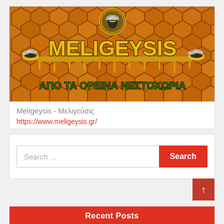[Figure (logo): Meligeysis logo with honeycomb background, bee icon in circular emblem, text MELIGEYSIS in large yellow letters with honey drip effect, subtitle ΑΠΟ ΤΑ ΟΡΕΙΝΑ ΝΕΣΤΟΧΩΡΙΑ in green letters, two bees on sides]
Meligeysis - Μελιγεύσις
https://www.meligeysis.gr/
Search ...
Recent Posts